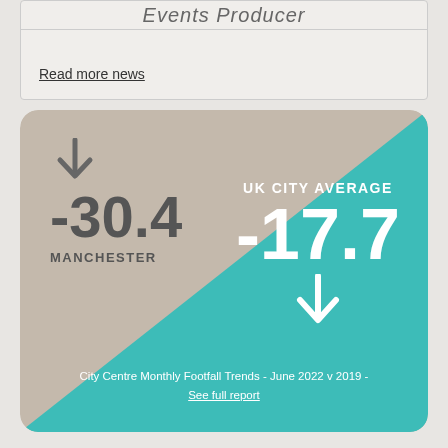Events Producer
Read more news
[Figure (infographic): City Centre Monthly Footfall Trends infographic card showing Manchester at -30.4 and UK City Average at -17.7, both with downward arrows, split diagonally between beige and teal backgrounds.]
City Centre Monthly Footfall Trends - June 2022 v 2019 - See full report